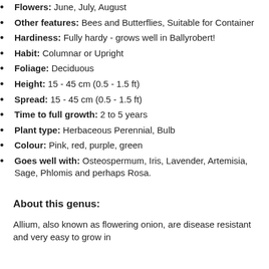Flowers: June, July, August
Other features: Bees and Butterflies, Suitable for Container
Hardiness: Fully hardy - grows well in Ballyrobert!
Habit: Columnar or Upright
Foliage: Deciduous
Height: 15 - 45 cm (0.5 - 1.5 ft)
Spread: 15 - 45 cm (0.5 - 1.5 ft)
Time to full growth: 2 to 5 years
Plant type: Herbaceous Perennial, Bulb
Colour: Pink, red, purple, green
Goes well with: Osteospermum, Iris, Lavender, Artemisia, Sage, Phlomis and perhaps Rosa.
About this genus:
Allium, also known as flowering onion, are disease resistant and very easy to grow in